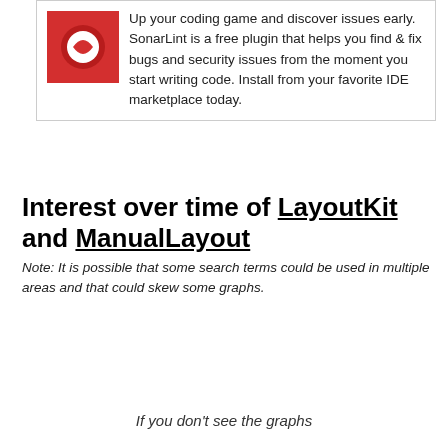[Figure (other): SonarLint advertisement box with red logo icon on the left and promotional text on the right. Text reads: 'Up your coding game and discover issues early. SonarLint is a free plugin that helps you find & fix bugs and security issues from the moment you start writing code. Install from your favorite IDE marketplace today.']
Interest over time of LayoutKit and ManualLayout
Note: It is possible that some search terms could be used in multiple areas and that could skew some graphs.
If you don't see the graphs